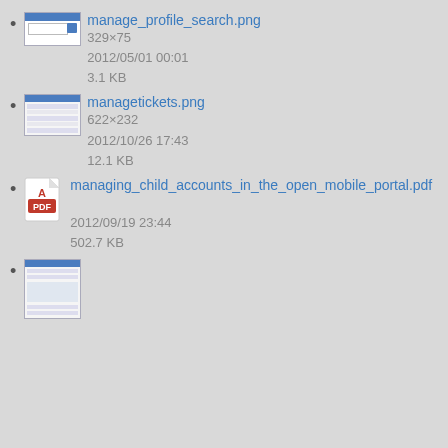manage_profile_search.png
329×75
2012/05/01 00:01
3.1 KB
managetickets.png
622×232
2012/10/26 17:43
12.1 KB
managing_child_accounts_in_the_open_mobile_portal.pdf
2012/09/19 23:44
502.7 KB
(partial, truncated at bottom)